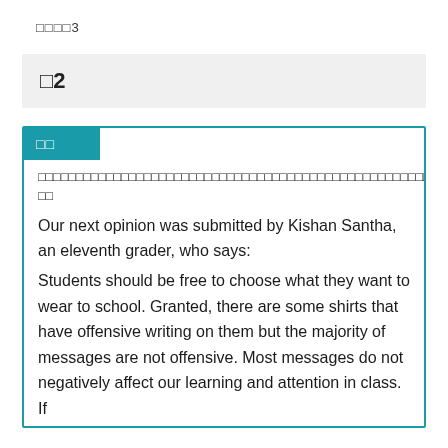□□□□3
□2
□□
□□□□□□□□□□□□□□□□□□□□□□□□□□□□□□□□□□□□□□□□□□□□□□□□□□□□□□□1□4□□□□□1□□□
Our next opinion was submitted by Kishan Santha, an eleventh grader, who says:
Students should be free to choose what they want to wear to school. Granted, there are some shirts that have offensive writing on them but the majority of messages are not offensive. Most messages do not negatively affect our learning and attention in class. If